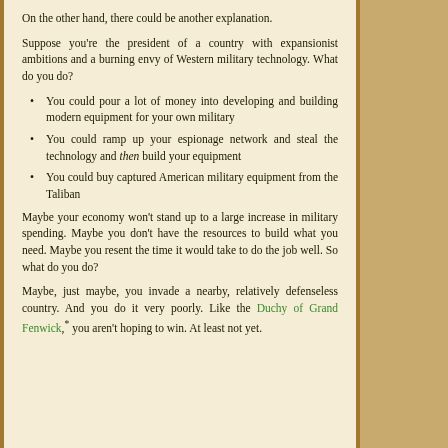On the other hand, there could be another explanation.
Suppose you're the president of a country with expansionist ambitions and a burning envy of Western military technology. What do you do?
You could pour a lot of money into developing and building modern equipment for your own military
You could ramp up your espionage network and steal the technology and then build your equipment
You could buy captured American military equipment from the Taliban
Maybe your economy won't stand up to a large increase in military spending. Maybe you don't have the resources to build what you need. Maybe you resent the time it would take to do the job well. So what do you do?
Maybe, just maybe, you invade a nearby, relatively defenseless country. And you do it very poorly. Like the Duchy of Grand Fenwick,* you aren't hoping to win. At least not yet.